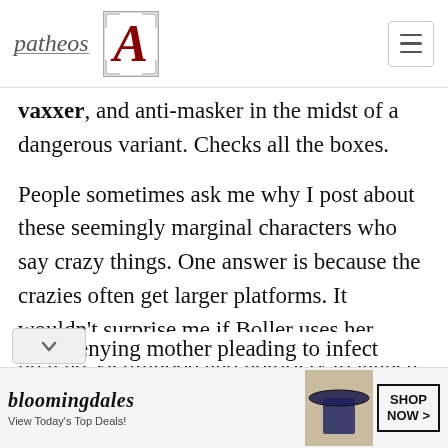patheos | A
vaxxer, and anti-masker in the midst of a dangerous variant. Checks all the boxes.

People sometimes ask me why I post about these seemingly marginal characters who say crazy things. One answer is because the crazies often get larger platforms. It wouldn't surprise me if Boller uses her pretend-victimhood and notoriety to launch a serious run for public office, whether it's the school board or legislature. And at that point, she won't just be VID-denying mother pleading to infect
[Figure (screenshot): Bloomingdale's advertisement banner: 'View Today's Top Deals!' with woman in hat and 'SHOP NOW >' button]